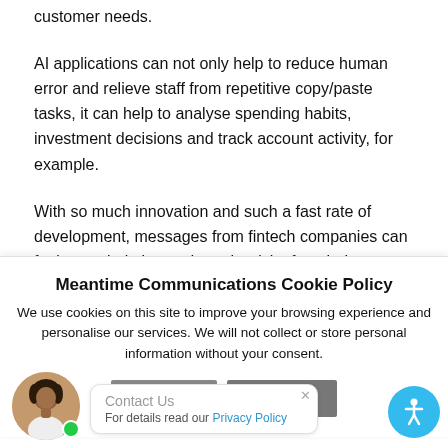customer needs.
AI applications can not only help to reduce human error and relieve staff from repetitive copy/paste tasks, it can help to analyse spending habits, investment decisions and track account activity, for example.
With so much innovation and such a fast rate of development, messages from fintech companies can feel overwhelming and run the risk of not being picked
Meantime Communications Cookie Policy
We use cookies on this site to improve your browsing experience and personalise our services. We will not collect or store personal information without your consent.
For details read our Privacy Policy